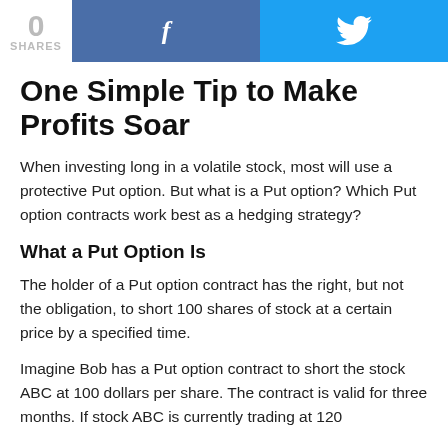[Figure (other): Social sharing bar with share count (0 SHARES), Facebook button (f), and Twitter button (bird icon)]
One Simple Tip to Make Profits Soar
When investing long in a volatile stock, most will use a protective Put option. But what is a Put option? Which Put option contracts work best as a hedging strategy?
What a Put Option Is
The holder of a Put option contract has the right, but not the obligation, to short 100 shares of stock at a certain price by a specified time.
Imagine Bob has a Put option contract to short the stock ABC at 100 dollars per share. The contract is valid for three months. If stock ABC is currently trading at 120